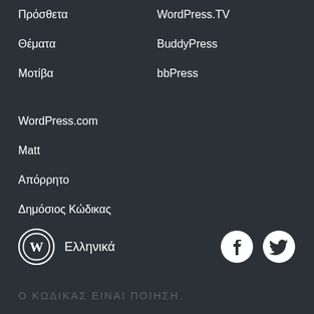Πρόσθετα
WordPress.TV
Θέματα
BuddyPress
Μοτίβα
bbPress
WordPress.com
Matt
Απόρρητο
Δημόσιος Κώδικας
Ελληνικά
Ο ΚΩΔΙΚΑΣ ΕΙΝΑΙ ΠΟΙΗΣΗ.